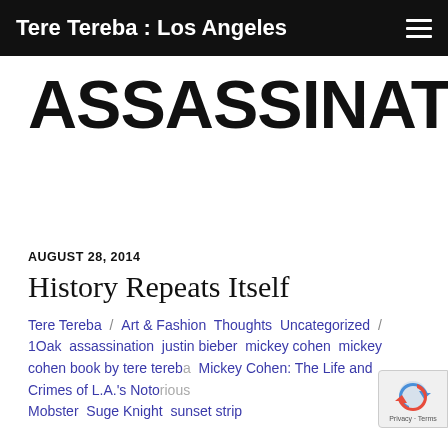Tere Tereba : Los Angeles
ASSASSINATION
AUGUST 28, 2014
History Repeats Itself
Tere Tereba / Art & Fashion  Thoughts  Uncategorized / 1Oak  assassination  justin bieber  mickey cohen  mickey cohen book by tere tereba  Mickey Cohen: The Life and Crimes of L.A.'s Notorious Mobster  Suge Knight  sunset strip